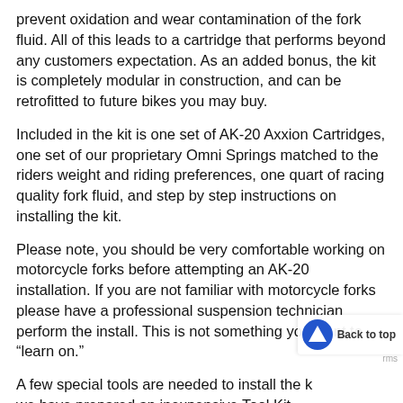prevent oxidation and wear contamination of the fork fluid. All of this leads to a cartridge that performs beyond any customers expectation. As an added bonus, the kit is completely modular in construction, and can be retrofitted to future bikes you may buy.
Included in the kit is one set of AK-20 Axxion Cartridges, one set of our proprietary Omni Springs matched to the riders weight and riding preferences, one quart of racing quality fork fluid, and step by step instructions on installing the kit.
Please note, you should be very comfortable working on motorcycle forks before attempting an AK-20 installation. If you are not familiar with motorcycle forks please have a professional suspension technician perform the install. This is not something you want to “learn on.”
A few special tools are needed to install the k... we have prepared an inexpensive Tool Kit t... everything you need to install your AK-20 Axxion Cartridge Kits, along to your preferred local f...